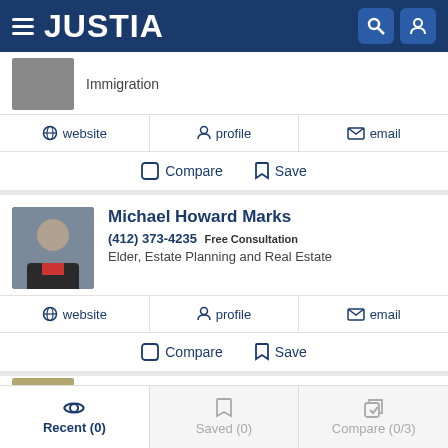JUSTIA
Immigration
website  profile  email
Compare  Save
Michael Howard Marks
(412) 373-4235 Free Consultation
Elder, Estate Planning and Real Estate
website  profile  email
Compare  Save
Paul Joseph Giuffre
Recent (0)  Saved (0)  Compare (0/3)